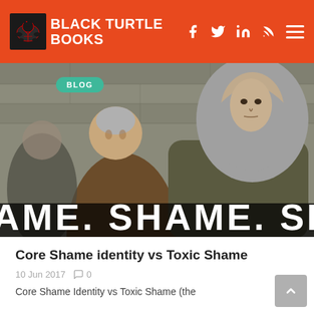BLACK TURTLE BOOKS
[Figure (photo): A scene showing two people in medieval-style clothing — one in a grey head wrap, one in brown — with stone wall background. Overlaid text reads 'AME. SHAME. SHA' in large white bold letters at the bottom of the image.]
BLOG
Core Shame identity vs Toxic Shame
10 Jun 2017    0
Core Shame Identity vs Toxic Shame (the